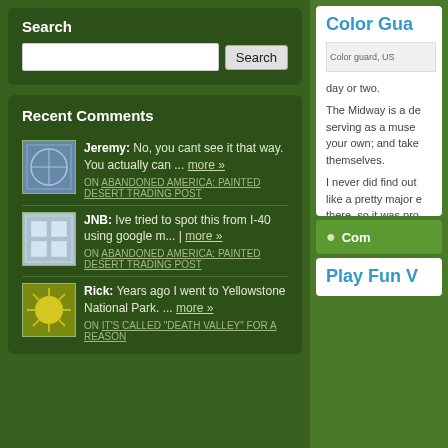Search
Search input and button
Recent Comments
Jeremy: No, you cant see it that way. You actually can ... more » ON ABANDONED AMERICA: PAINTED DESERT TRADING POST
JNB: Ive tried to spot this from I-40 using google m... | more » ON ABANDONED AMERICA: PAINTED DESERT TRADING POST
Rick: Years ago I went to Yellowstone National Park. ... more » ON IT'S CALLED "DEATH VALLEY" FOR A REASON
Color Gua
[Figure (photo): Color guard, US - broken image placeholder]
day or two.
The Midway is a de serving as a muse your own; and take themselves.
I never did find out like a pretty major e there, so it was pro
Jul 26, 2010 9:05:49
Com
Play Fun V